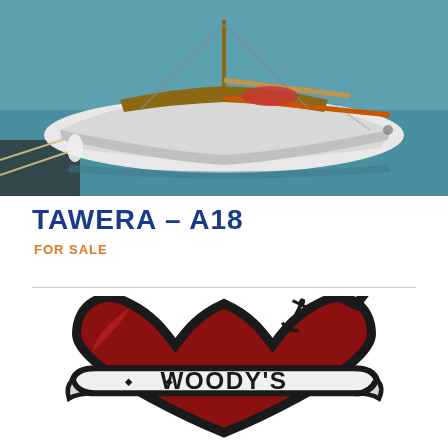[Figure (photo): A white sailboat with wooden accents moored at a dock, photographed from above, turquoise water visible.]
TAWERA – A18
FOR SALE
[Figure (logo): Woody's logo: a red heart with a black outline and a banner across it reading 'WOODY'S' in bold block letters, with a small anchor graphic on the upper right of the heart.]